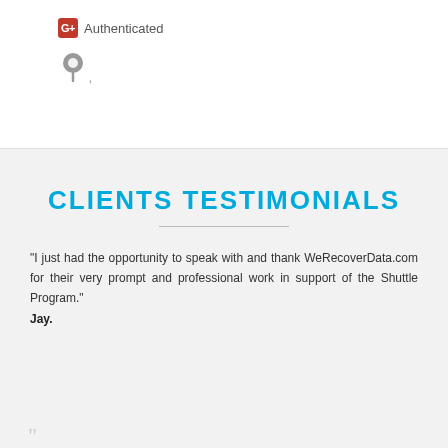[Figure (logo): Google+ Authenticated badge with red G+ icon and text 'Authenticated']
[Figure (other): Gray map pin / location marker icon]
CLIENTS TESTIMONIALS
“I just had the opportunity to speak with and thank WeRecoverData.com for their very prompt and professional work in support of the Shuttle Program.”
Jay.
[Figure (other): Partial quote/icon at bottom edge]